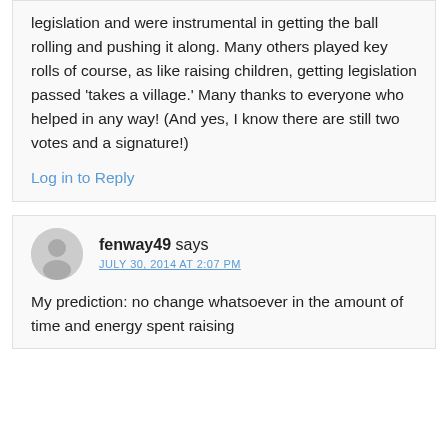legislation and were instrumental in getting the ball rolling and pushing it along. Many others played key rolls of course, as like raising children, getting legislation passed 'takes a village.' Many thanks to everyone who helped in any way! (And yes, I know there are still two votes and a signature!)
Log in to Reply
fenway49 says
JULY 30, 2014 AT 2:07 PM
My prediction: no change whatsoever in the amount of time and energy spent raising